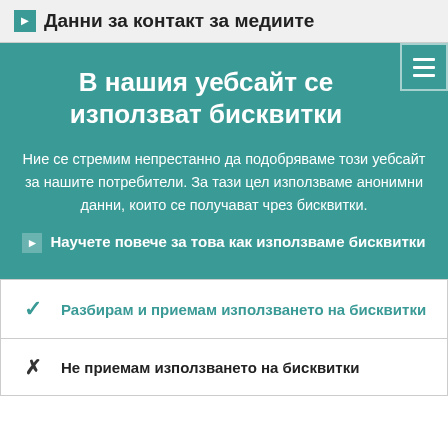Данни за контакт за медиите
В нашия уебсайт се използват бисквитки
Ние се стремим непрестанно да подобряваме този уебсайт за нашите потребители. За тази цел използваме анонимни данни, които се получават чрез бисквитки.
Научете повече за това как използваме бисквитки
Разбирам и приемам използването на бисквитки
Не приемам използването на бисквитки